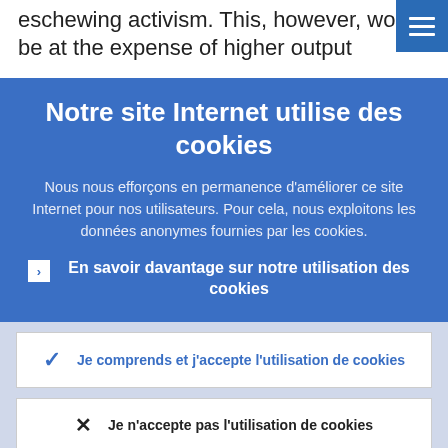eschewing activism. This, however, would be at the expense of higher output
Notre site Internet utilise des cookies
Nous nous efforçons en permanence d'améliorer ce site Internet pour nos utilisateurs. Pour cela, nous exploitons les données anonymes fournies par les cookies.
En savoir davantage sur notre utilisation des cookies
Je comprends et j'accepte l'utilisation de cookies
Je n'accepte pas l'utilisation de cookies